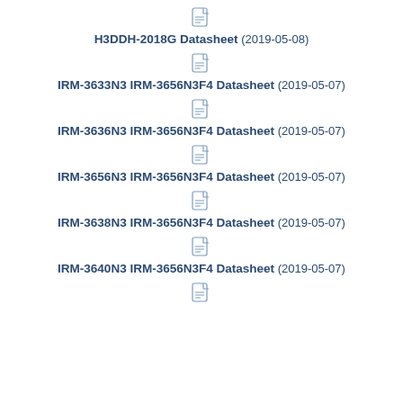[Figure (other): PDF file icon]
H3DDH-2018G Datasheet (2019-05-08)
[Figure (other): PDF file icon]
IRM-3633N3 IRM-3656N3F4 Datasheet (2019-05-07)
[Figure (other): PDF file icon]
IRM-3636N3 IRM-3656N3F4 Datasheet (2019-05-07)
[Figure (other): PDF file icon]
IRM-3656N3 IRM-3656N3F4 Datasheet (2019-05-07)
[Figure (other): PDF file icon]
IRM-3638N3 IRM-3656N3F4 Datasheet (2019-05-07)
[Figure (other): PDF file icon]
IRM-3640N3 IRM-3656N3F4 Datasheet (2019-05-07)
[Figure (other): PDF file icon]